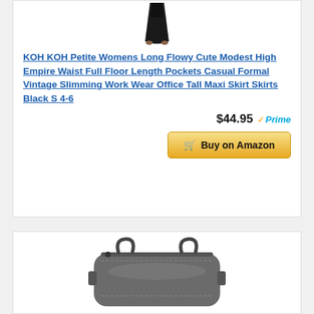[Figure (photo): Partial product photo of a black maxi skirt shown from waist down, with dark fabric visible at top]
KOH KOH Petite Womens Long Flowy Cute Modest High Empire Waist Full Floor Length Pockets Casual Formal Vintage Slimming Work Wear Office Tall Maxi Skirt Skirts Black S 4-6
$44.95 Prime
Buy on Amazon
[Figure (photo): Partial product photo of a gray duffle/duffel bag with handles visible]